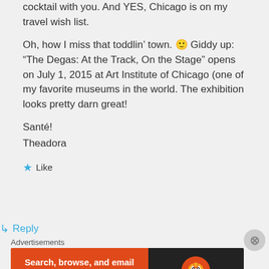cocktail with you. And YES, Chicago is on my travel wish list.
Oh, how I miss that toddlin’ town. 🙂 Giddy up: “The Degas: At the Track, On the Stage” opens on July 1, 2015 at Art Institute of Chicago (one of my favorite museums in the world. The exhibition looks pretty darn great!
Santé!
Theadora
★ Like
↳ Reply
Advertisements
[Figure (other): DuckDuckGo advertisement banner: orange left panel with text 'Search, browse, and email with more privacy. All in One Free App' and dark right panel with DuckDuckGo duck logo and brand name.]